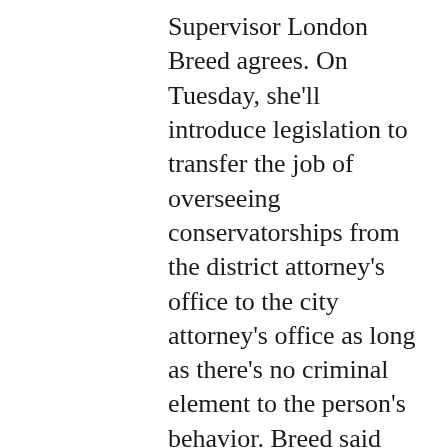Supervisor London Breed agrees. On Tuesday, she'll introduce legislation to transfer the job of overseeing conservatorships from the district attorney's office to the city attorney's office as long as there's no criminal element to the person's behavior. Breed said the switch will make it easier to coordinate help with other city agencies, including the Department of Public Health. “This is a public health issue and needs to be treated as such,” she said. Breed’s legislation will also make permanent a new group of representatives from Public Health, the Department of